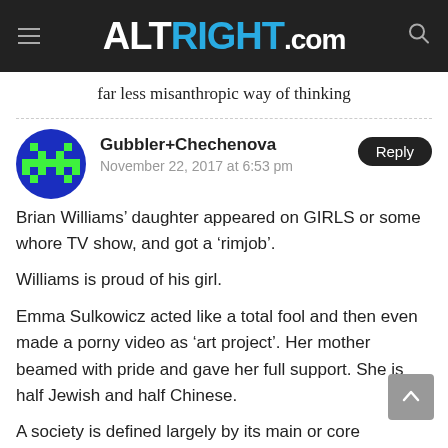ALTRIGHT.COM
far less misanthropic way of thinking
Gubbler+Chechenova
November 22, 2017 at 6:53 pm
Brian Williams’ daughter appeared on GIRLS or some whore TV show, and got a ‘rimjob’.

Williams is proud of his girl.

Emma Sulkowicz acted like a total fool and then even made a porny video as ‘art project’. Her mother beamed with pride and gave her full support. She is half Jewish and half Chinese.

A society is defined largely by its main or core